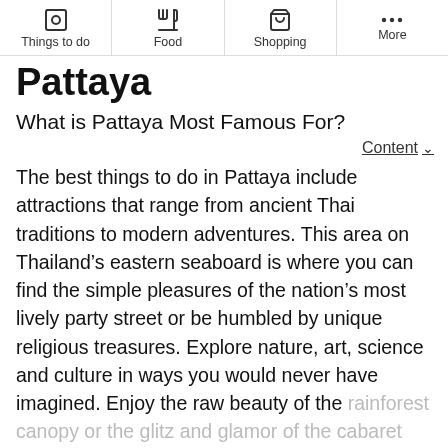Things to do | Food | Shopping | More
Pattaya
What is Pattaya Most Famous For?
Content ▾
The best things to do in Pattaya include attractions that range from ancient Thai traditions to modern adventures. This area on Thailand's eastern seaboard is where you can find the simple pleasures of the nation's most lively party street or be humbled by unique religious treasures. Explore nature, art, science and culture in ways you would never have imagined. Enjoy the raw beauty of the rainforest canopy or the glitz and glamor of the cabaret
Show more
Walking Street